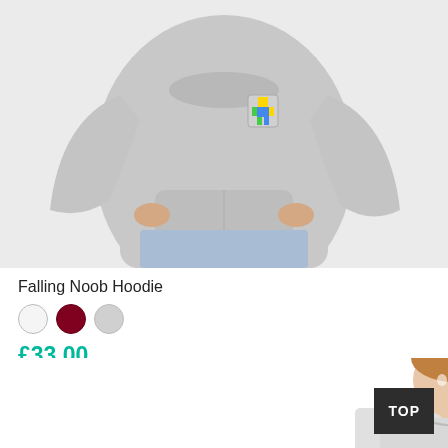[Figure (photo): Gray hoodie worn by a model, showing a small colorful Roblox-style character graphic on the chest pocket area. Model is cropped from chest to mid-thigh, wearing light blue jeans.]
Falling Noob Hoodie
[Figure (other): Three color swatches: white, dark red/maroon, and light gray]
£33.00
[Figure (photo): Second product photo showing a boy model from shoulders up, wearing a shirt, face partially visible]
TOP